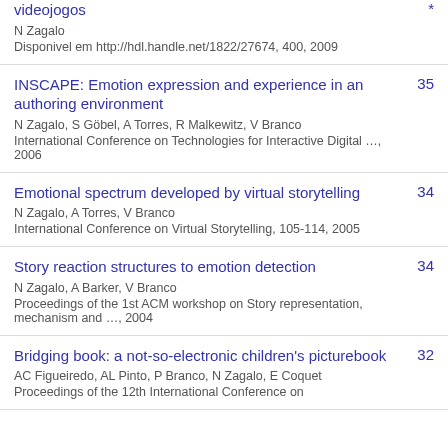videojogos
N Zagalo
Disponivel em http://hdl.handle.net/1822/27674, 400, 2009
*
INSCAPE: Emotion expression and experience in an authoring environment
N Zagalo, S Göbel, A Torres, R Malkewitz, V Branco
International Conference on Technologies for Interactive Digital …, 2006
35
Emotional spectrum developed by virtual storytelling
N Zagalo, A Torres, V Branco
International Conference on Virtual Storytelling, 105-114, 2005
34
Story reaction structures to emotion detection
N Zagalo, A Barker, V Branco
Proceedings of the 1st ACM workshop on Story representation, mechanism and …, 2004
34
Bridging book: a not-so-electronic children's picturebook
AC Figueiredo, AL Pinto, P Branco, N Zagalo, E Coquet
Proceedings of the 12th International Conference on
32